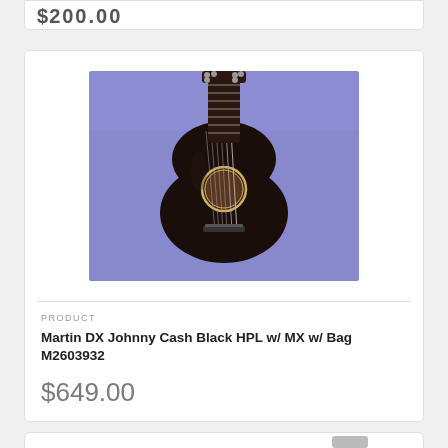$200.00
[Figure (photo): Black acoustic guitar (Martin DX Johnny Cash) photographed against a blue/purple background, showing the full body with sound hole and strings]
PRODUCT
Martin DX Johnny Cash Black HPL w/ MX w/ Bag M2603932
$649.00